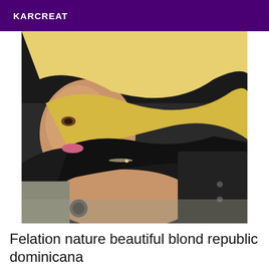KARCREAT
[Figure (photo): A blonde woman in a black outfit taking a selfie in a car interior, lying back against the seat.]
Felation nature beautiful blond republic dominicana